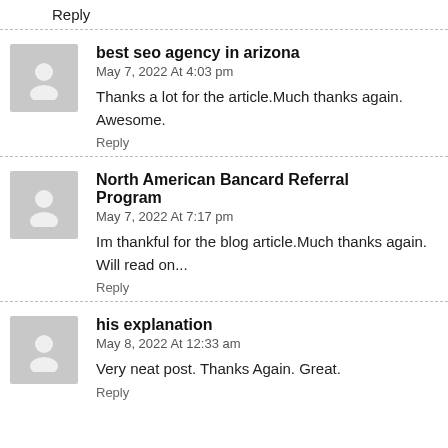Reply
best seo agency in arizona
May 7, 2022 At 4:03 pm
Thanks a lot for the article.Much thanks again. Awesome.
Reply
North American Bancard Referral Program
May 7, 2022 At 7:17 pm
Im thankful for the blog article.Much thanks again. Will read on...
Reply
his explanation
May 8, 2022 At 12:33 am
Very neat post. Thanks Again. Great.
Reply